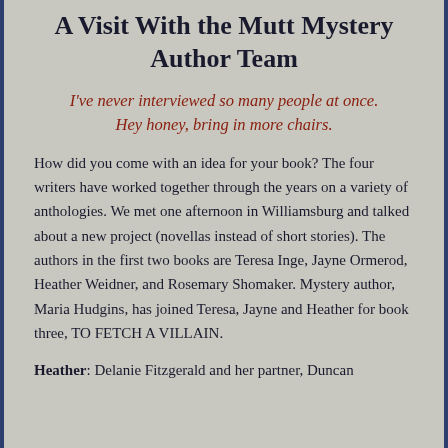A Visit With the Mutt Mystery Author Team
I've never interviewed so many people at once. Hey honey, bring in more chairs.
How did you come with an idea for your book? The four writers have worked together through the years on a variety of anthologies. We met one afternoon in Williamsburg and talked about a new project (novellas instead of short stories). The authors in the first two books are Teresa Inge, Jayne Ormerod, Heather Weidner, and Rosemary Shomaker. Mystery author, Maria Hudgins, has joined Teresa, Jayne and Heather for book three, TO FETCH A VILLAIN.
Heather: Delanie Fitzgerald and her partner, Duncan